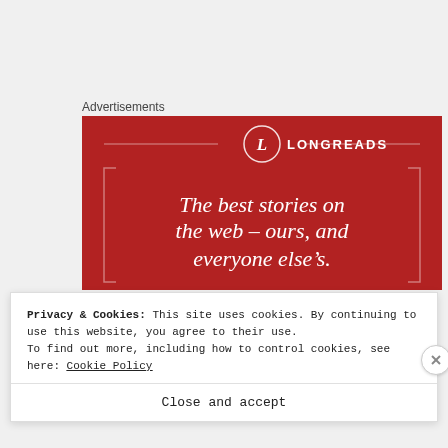Advertisements
[Figure (illustration): Longreads advertisement banner on red background. Features Longreads logo (circle with L) and tagline: The best stories on the web – ours, and everyone else's.]
Privacy & Cookies: This site uses cookies. By continuing to use this website, you agree to their use. To find out more, including how to control cookies, see here: Cookie Policy
Close and accept